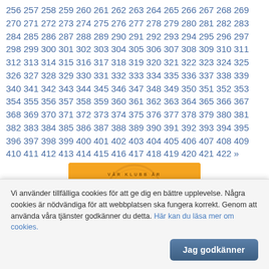256 257 258 259 260 261 262 263 264 265 266 267 268 269 270 271 272 273 274 275 276 277 278 279 280 281 282 283 284 285 286 287 288 289 290 291 292 293 294 295 296 297 298 299 300 301 302 303 304 305 306 307 308 309 310 311 312 313 314 315 316 317 318 319 320 321 322 323 324 325 326 327 328 329 330 331 332 333 334 335 336 337 338 339 340 341 342 343 344 345 346 347 348 349 350 351 352 353 354 355 356 357 358 359 360 361 362 363 364 365 366 367 368 369 370 371 372 373 374 375 376 377 378 379 380 381 382 383 384 385 386 387 388 389 390 391 392 393 394 395 396 397 398 399 400 401 402 403 404 405 406 407 408 409 410 411 412 413 414 415 416 417 418 419 420 421 422 »
[Figure (illustration): Orange circular badge with text 'VÅR KLUBB ÄR VACCINERAD' in bold black letters]
Vi använder tillfälliga cookies för att ge dig en bättre upplevelse. Några cookies är nödvändiga för att webbplatsen ska fungera korrekt. Genom att använda våra tjänster godkänner du detta. Här kan du läsa mer om cookies.